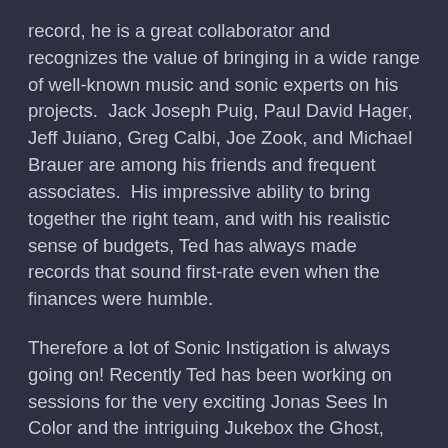record, he is a great collaborator and recognizes the value of bringing in a wide range of well-known music and sonic experts on his projects.  Jack Joseph Puig, Paul David Hager, Jeff Juiano, Greg Calbi, Joe Zook, and Michael Brauer are among his friends and frequent associates.  His impressive ability to bring together the right team, and with his realistic sense of budgets, Ted has always made records that sound first-rate even when the finances were humble.
Therefore a lot of Sonic Instigation is always going on! Recently Ted has been working on sessions for the very exciting Jonas Sees In Color and the intriguing Jukebox the Ghost, while bands he's worked with for years like Virginia Coalition, A Fragile Tomorrow,  and Juniper Lane continue to have devoted fans and sellout shows.  Over the years, Ted has taken a lot of Songs and helped turn them into Great Songs.  Making this happen in the studio is great fun